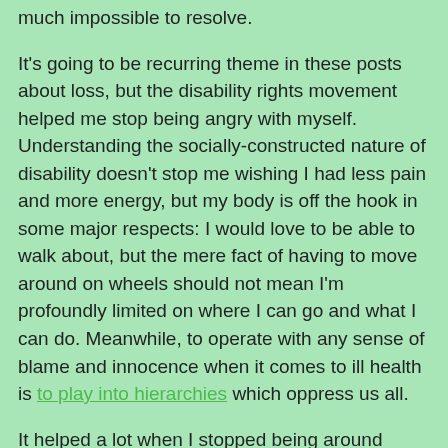(…) practically impossible to resolve.
It's going to be recurring theme in these posts about loss, but the disability rights movement helped me stop being angry with myself. Understanding the socially-constructed nature of disability doesn't stop me wishing I had less pain and more energy, but my body is off the hook in some major respects: I would love to be able to walk about, but the mere fact of having to move around on wheels should not mean I'm profoundly limited on where I can go and what I can do. Meanwhile, to operate with any sense of blame and innocence when it comes to ill health is to play into hierarchies which oppress us all.
It helped a lot when I stopped being around angry people. To avoid other people's anger altogether would be to avoid anyone in pain or having a crap time and I don't mean that at all. But for a long time, I was attracted to misanthropes. I didn't hope for love (or trust it, because it was always there somewhere) so I sought toleration; I was attracted to people…